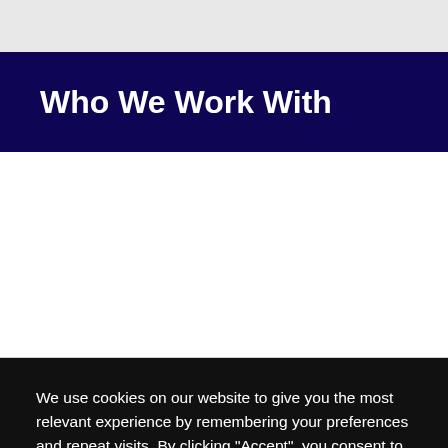Who We Work With
[Figure (other): White content area, blank/empty]
We use cookies on our website to give you the most relevant experience by remembering your preferences and repeat visits. By clicking "Accept", you consent to the use of ALL the cookies.
Cookie settings  ACCEPT